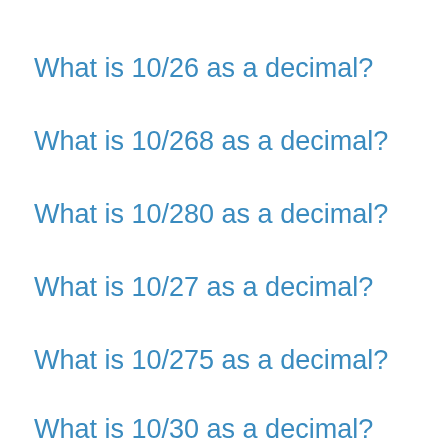What is 10/26 as a decimal?
What is 10/268 as a decimal?
What is 10/280 as a decimal?
What is 10/27 as a decimal?
What is 10/275 as a decimal?
What is 10/30 as a decimal?